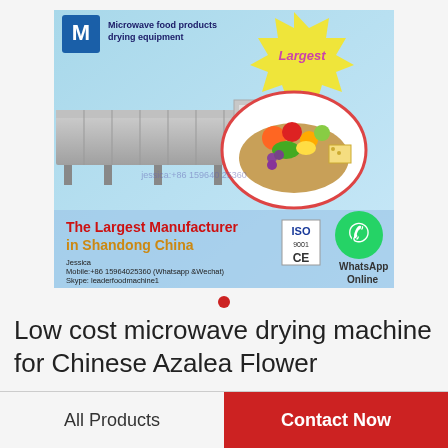[Figure (photo): Product advertisement image for microwave food products drying equipment. Shows a large industrial conveyor-style microwave drying machine in steel/grey color. Background is light blue. Top-left has a logo with 'M' and text 'Microwave food products drying equipment'. Top-right has 'Largest' in yellow on a starburst. There is an oval inset showing a basket with vegetables and food items. Text overlay in red: 'The Largest Manufacturer in Shandong China'. Contact info: Jessica, Mobile:+86 15964025360 (Whatsapp &Wechat), Skype: leaderfoodmachine1, Email: sales1@ldfoodmachine.com. ISO 9001 and CE certification logos. WhatsApp Online with green WhatsApp icon.]
[Figure (other): Red dot carousel indicator below the main product image.]
Low cost microwave drying machine for Chinese Azalea Flower
All Products
Contact Now